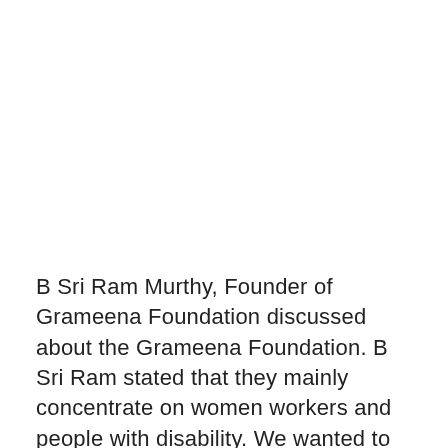B Sri Ram Murthy, Founder of Grameena Foundation discussed about the Grameena Foundation. B Sri Ram stated that they mainly concentrate on women workers and people with disability. We wanted to develop nano entrepreneurship and mentor the people in need, he said. We look at preparing micro-entrepreneurs and then giving them appropriate technology and managing int technology about